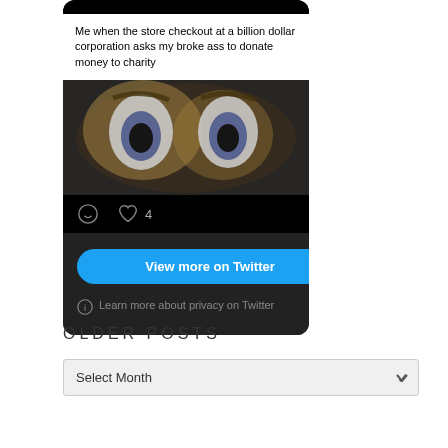[Figure (screenshot): A Twitter/social media embed card with dark background. Top shows a meme text: 'Me when the store checkout at a billion dollar corporation asks my broke ass to donate money to charity' on white background, below is a blurry Spongebob face image, then action icons (comment bubble, heart with count 4), then a 'View more on Twitter' blue button, and 'Learn more about privacy on Twitter' text link.]
OLDER POSTS
Select Month